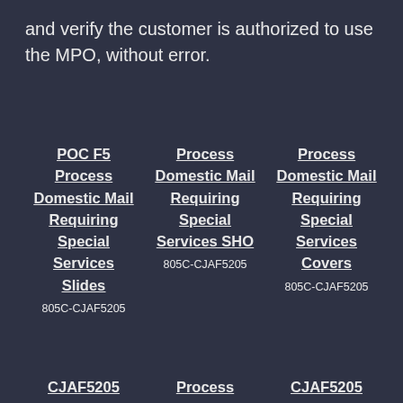and verify the customer is authorized to use the MPO, without error.
POC F5
Process Domestic Mail Requiring Special Services Slides
805C-CJAF5205
Process
Domestic Mail Requiring Special Services SHO
805C-CJAF5205
Process
Domestic Mail Requiring Special Services Covers
805C-CJAF5205
CJAF5205
Process
CJAF5205